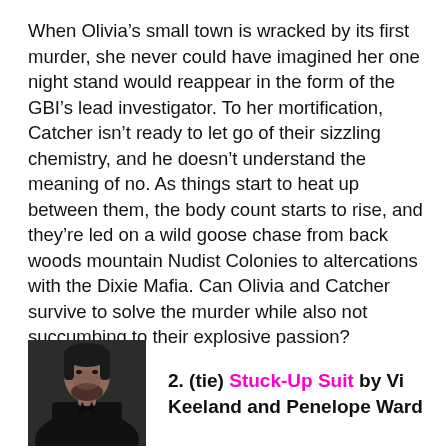When Olivia's small town is wracked by its first murder, she never could have imagined her one night stand would reappear in the form of the GBI's lead investigator. To her mortification, Catcher isn't ready to let go of their sizzling chemistry, and he doesn't understand the meaning of no. As things start to heat up between them, the body count starts to rise, and they're led on a wild goose chase from back woods mountain Nudist Colonies to altercations with the Dixie Mafia. Can Olivia and Catcher survive to solve the murder while also not succumbing to their explosive passion?
[Figure (photo): Photo of a man with dark hair and beard wearing a dark shirt, against a dark background]
2. (tie) Stuck-Up Suit by Vi Keeland and Penelope Ward